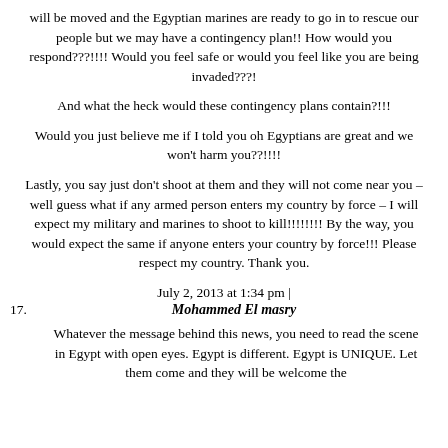will be moved and the Egyptian marines are ready to go in to rescue our people but we may have a contingency plan!! How would you respond???!!!! Would you feel safe or would you feel like you are being invaded???!
And what the heck would these contingency plans contain?!!!
Would you just believe me if I told you oh Egyptians are great and we won't harm you??!!!!
Lastly, you say just don't shoot at them and they will not come near you – well guess what if any armed person enters my country by force – I will expect my military and marines to shoot to kill!!!!!!!! By the way, you would expect the same if anyone enters your country by force!!! Please respect my country. Thank you.
July 2, 2013 at 1:34 pm |
17.    Mohammed El masry
Whatever the message behind this news, you need to read the scene in Egypt with open eyes. Egypt is different. Egypt is UNIQUE. Let them come and they will be welcome the